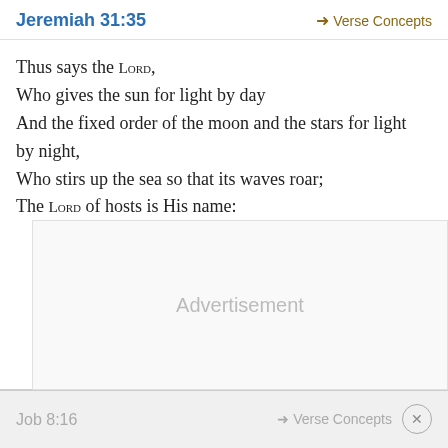Jeremiah 31:35
→ Verse Concepts
Thus says the LORD,
Who gives the sun for light by day
And the fixed order of the moon and the stars for light by night,
Who stirs up the sea so that its waves roar;
The LORD of hosts is His name:
Advertisement
Job 8:16
→ Verse Concepts